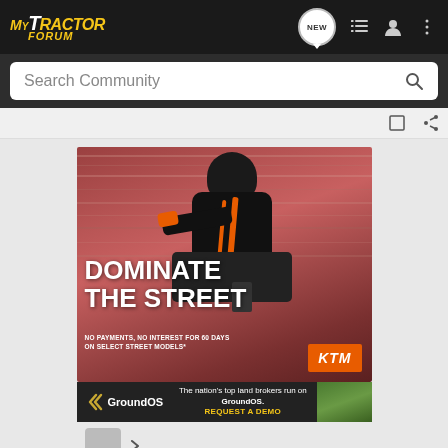MyTractor Forum navigation bar with logo, NEW button, list icon, profile icon, more icon
Search Community
[Figure (screenshot): KTM motorcycle advertisement. A rider on a KTM street motorcycle in motion. Text reads: DOMINATE THE STREET. NO PAYMENTS, NO INTEREST FOR 60 DAYS ON SELECT STREET MODELS*. KTM logo in orange box bottom right.]
[Figure (screenshot): GroundOS advertisement banner. GroundOS logo on left, text: The nation's top land brokers run on GroundOS. REQUEST A DEMO. Green field image on right.]